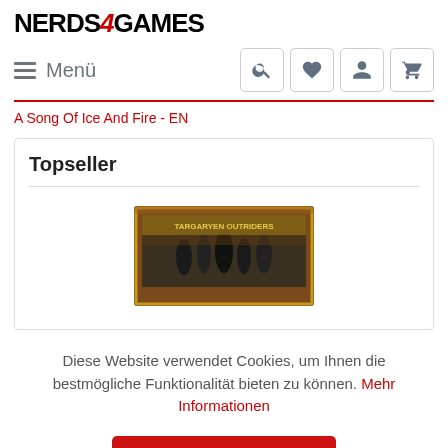NERDS4GAMES
≡ Menü
A Song Of Ice And Fire - EN
Topseller
[Figure (photo): Game box product image for A Song of Ice and Fire tabletop miniatures game]
Diese Website verwendet Cookies, um Ihnen die bestmögliche Funktionalität bieten zu können. Mehr Informationen
Einverstanden